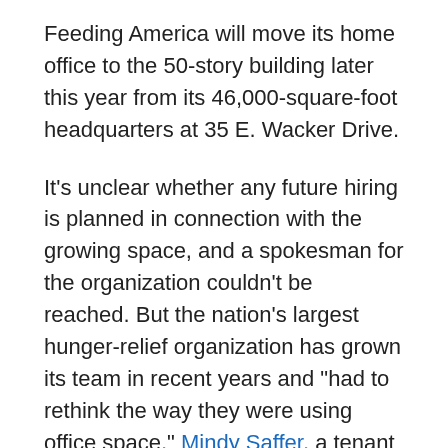Feeding America will move its home office to the 50-story building later this year from its 46,000-square-foot headquarters at 35 E. Wacker Drive.
It's unclear whether any future hiring is planned in connection with the growing space, and a spokesman for the organization couldn't be reached. But the nation's largest hunger-relief organization has grown its team in recent years and "had to rethink the way they were using office space," Mindy Saffer, a tenant rep at real estate brokerage Cresa, said in a statement announcing the lease.
"The space provides employees a more collaborative and efficient work environment while the building provides ample room for Feeding America to host meetings," the statement said. "It was extremely important to Feeding America's executive team to keep real estate costs as low as possible while creating space that improves